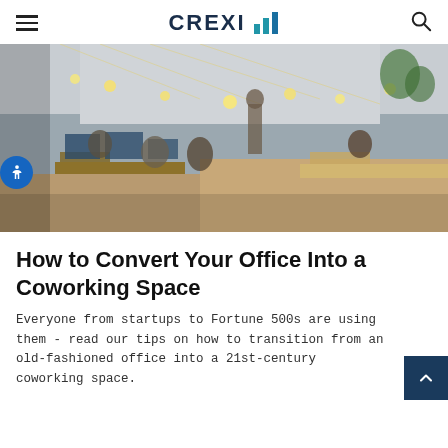CREXI (logo with bar chart icon)
[Figure (photo): Aerial view of a modern coworking office space with people working at desks, Edison bulb string lights hanging from ceiling, industrial-style interior]
How to Convert Your Office Into a Coworking Space
Everyone from startups to Fortune 500s are using them - read our tips on how to transition from an old-fashioned office into a 21st-century coworking space.